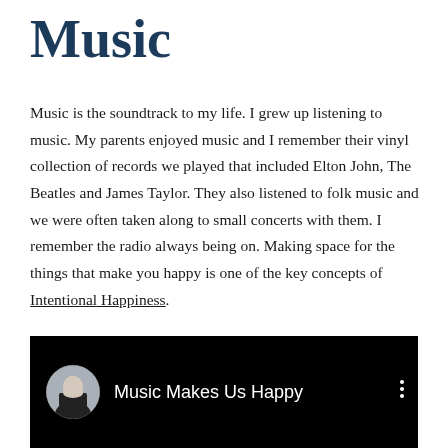Music
Music is the soundtrack to my life. I grew up listening to music. My parents enjoyed music and I remember their vinyl collection of records we played that included Elton John, The Beatles and James Taylor. They also listened to folk music and we were often taken along to small concerts with them. I remember the radio always being on. Making space for the things that make you happy is one of the key concepts of Intentional Happiness.
[Figure (screenshot): Video thumbnail showing a dark/black background with a circular avatar of a woman in black jacket on the left, the title 'Music Makes Us Happy' in white text, and a vertical three-dot menu icon on the right.]